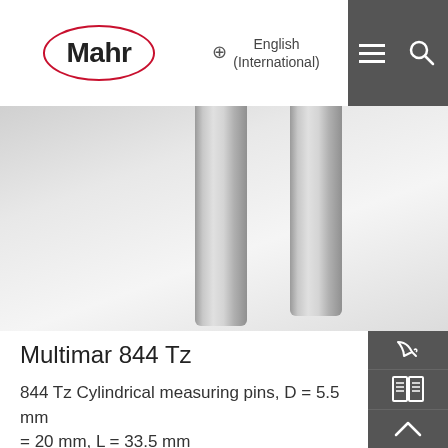[Figure (logo): Mahr logo in red oval outline with bold black text]
English (International)
[Figure (photo): Two cylindrical stainless steel measuring pins on a metallic surface background]
Multimar 844 Tz
844 Tz Cylindrical measuring pins, D = 5.5 mm = 20 mm, L = 33.5 mm
Details